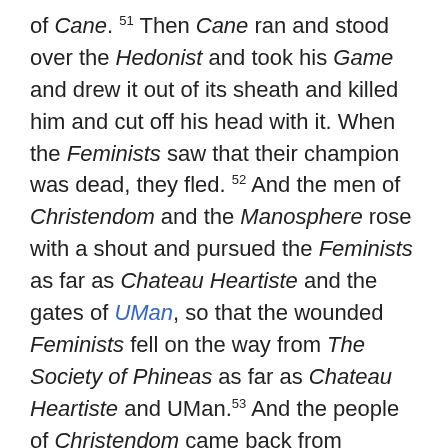of Cane. 51 Then Cane ran and stood over the Hedonist and took his Game and drew it out of its sheath and killed him and cut off his head with it. When the Feminists saw that their champion was dead, they fled. 52 And the men of Christendom and the Manosphere rose with a shout and pursued the Feminists as far as Chateau Heartiste and the gates of UMan, so that the wounded Feminists fell on the way from The Society of Phineas as far as Chateau Heartiste and UMan. 53 And the people of Christendom came back from chasing the Feminists, and they plundered their camp. 54 And Cane took the head of the Hedonist and brought it to Texas, but he put his Frame in his blog.
55 As soon as Vox saw Cane go out against the